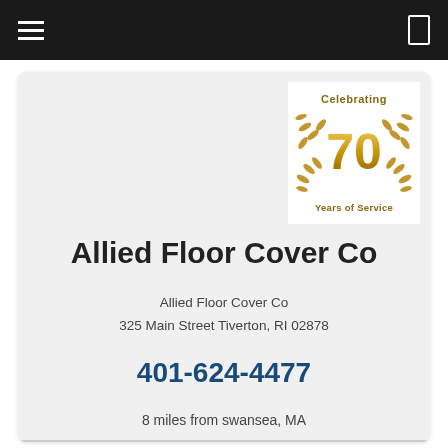[Figure (logo): Celebrating 70 Years of Service gold wreath anniversary badge]
Allied Floor Cover Co
Allied Floor Cover Co
325 Main Street Tiverton, RI 02878
401-624-4477
8 miles from swansea, MA
map